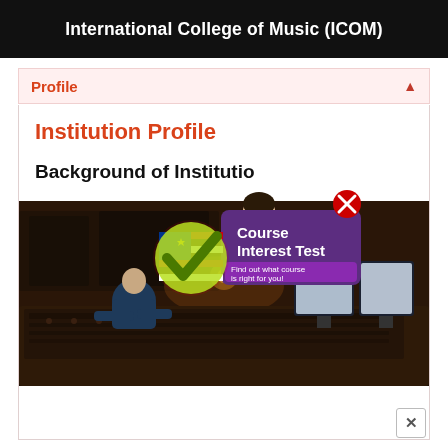International College of Music (ICOM)
Profile
Institution Profile
Background of Institution
[Figure (photo): Recording studio scene with a person sitting at a large mixing console and computer monitors]
[Figure (infographic): Course Interest Test popup with a Malaysian flag checkmark badge, person thinking, and purple banner saying 'Course Interest Test - Find out what course is right for you!']